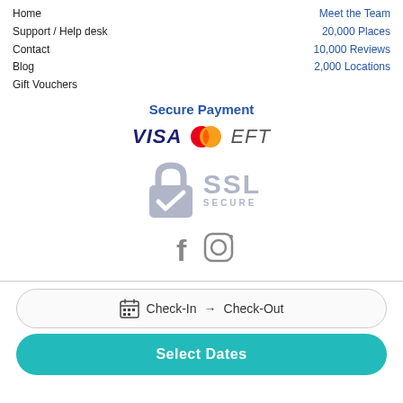Home
Support / Help desk
Contact
Blog
Gift Vouchers
Meet the Team
20,000 Places
10,000 Reviews
2,000 Locations
Secure Payment
[Figure (logo): Payment logos: VISA (bold italic), Mastercard (two overlapping circles red and orange), EFT (italic)]
[Figure (logo): SSL Secure padlock logo with checkmark and text SSL SECURE in light gray]
[Figure (logo): Social media icons: Facebook f and Instagram camera outline]
Check-In → Check-Out
Select Dates